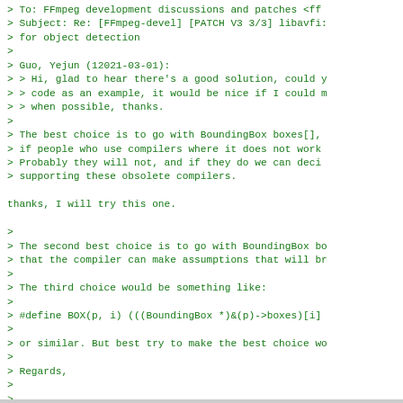> To: FFmpeg development discussions and patches <ff
> Subject: Re: [FFmpeg-devel] [PATCH V3 3/3] libavfi:
> for object detection
>
> Guo, Yejun (12021-03-01):
> > Hi, glad to hear there's a good solution, could y
> > code as an example, it would be nice if I could m
> > when possible, thanks.
>
> The best choice is to go with BoundingBox boxes[],
> if people who use compilers where it does not work
> Probably they will not, and if they do we can deci
> supporting these obsolete compilers.

thanks, I will try this one.

>
> The second best choice is to go with BoundingBox bo
> that the compiler can make assumptions that will br
>
> The third choice would be something like:
>
> #define BOX(p, i) (((BoundingBox *)&(p)->boxes)[i]
>
> or similar. But best try to make the best choice wo
>
> Regards,
>
> --
>    Nicolas George